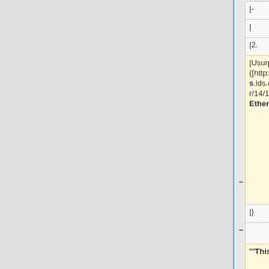|-
|-
|
|
|2.
|2.
|Usurper ([http://scriptures.lds.org/en/ether/14/10-17#10 Ether 14:10–17])
|Usurper ([http://www.lds.org/scriptures/bofm/ether/14.10,%2011,%2012,%2013,%2014,%2015,%2016,%2017?lang=eng#9 Ether 14:10 (x2), 11 (x2), 12 (x3), 13, 14, 15 (x2), 16 (x3), 17])
|}
|}
'''This entry is